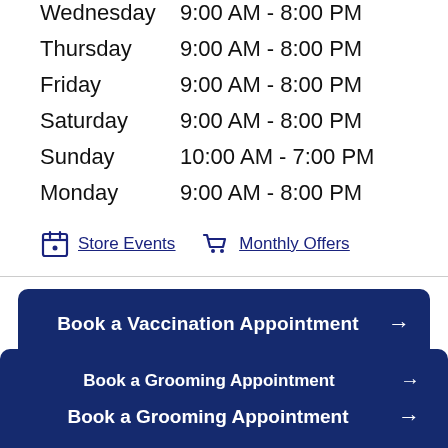Wednesday   9:00 AM - 8:00 PM
Thursday    9:00 AM - 8:00 PM
Friday      9:00 AM - 8:00 PM
Saturday    9:00 AM - 8:00 PM
Sunday      10:00 AM - 7:00 PM
Monday      9:00 AM - 8:00 PM
Store Events    Monthly Offers
Book a Vaccination Appointment →
Enroll in a Dog Training Class →
Book a Grooming Appointment →
Book a Grooming Appointment →